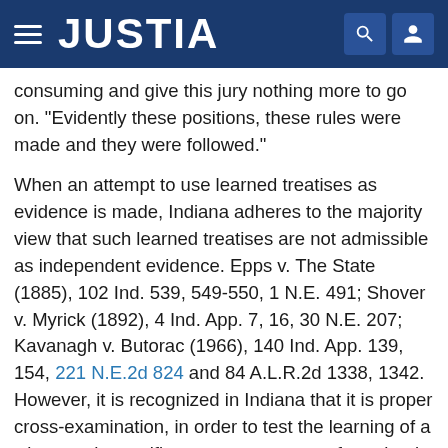JUSTIA
consuming and give this jury nothing more to go on. "Evidently these positions, these rules were made and they were followed."
When an attempt to use learned treatises as evidence is made, Indiana adheres to the majority view that such learned treatises are not admissible as independent evidence. Epps v. The State (1885), 102 Ind. 539, 549-550, 1 N.E. 491; Shover v. Myrick (1892), 4 Ind. App. 7, 16, 30 N.E. 207; Kavanagh v. Butorac (1966), 140 Ind. App. 139, 154, 221 N.E.2d 824 and 84 A.L.R.2d 1338, 1342. However, it is recognized in Indiana that it is proper cross-examination, in order to test the learning of a witness who testifies as an expert, to refer to books of approved authority upon the subjects under investigation. Hess v. Lowrey (1890), 122 Ind. 225, 233, 23 N.E. 156; Reddick v. Young (1912), 177 Ind. 632, 639, 98 N.E. 318 and 60